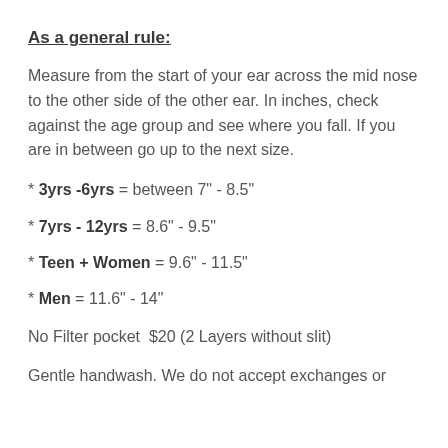As a general rule:
Measure from the start of your ear across the mid nose to the other side of the other ear. In inches, check against the age group and see where you fall. If you are in between go up to the next size.
* 3yrs -6yrs = between 7" - 8.5"
* 7yrs - 12yrs = 8.6" - 9.5"
* Teen + Women = 9.6" - 11.5"
* Men = 11.6" - 14"
No Filter pocket  $20 (2 Layers without slit)
Gentle handwash. We do not accept exchanges or